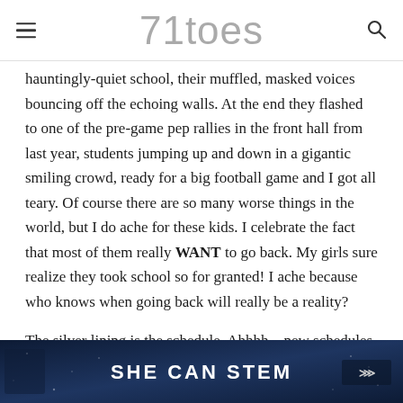71toes
hauntingly-quiet school, their muffled, masked voices bouncing off the echoing walls. At the end they flashed to one of the pre-game pep rallies in the front hall from last year, students jumping up and down in a gigantic smiling crowd, ready for a big football game and I got all teary. Of course there are so many worse things in the world, but I do ache for these kids. I celebrate the fact that most of them really WANT to go back. My girls sure realize they took school so for granted! I ache because who knows when going back will really be a reality?
The silver lining is the schedule. Ahhhh…new schedules are a
[Figure (infographic): Dark blue ad banner with bold white text 'SHE CAN STEM' and logos on left and right sides]